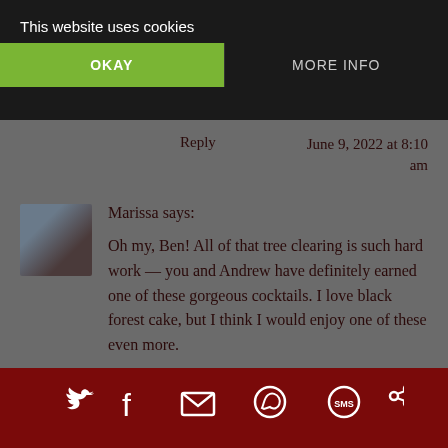This website uses cookies
OKAY
MORE INFO
Reply
June 9, 2022 at 8:10 am
Marissa says:
Oh my, Ben! All of that tree clearing is such hard work — you and Andrew have definitely earned one of these gorgeous cocktails. I love black forest cake, but I think I would enjoy one of these even more.
Reply
June 8, 2022 at 3:30 pm
[Figure (other): Social share icons: Twitter, Facebook, Email, WhatsApp, SMS, Share]